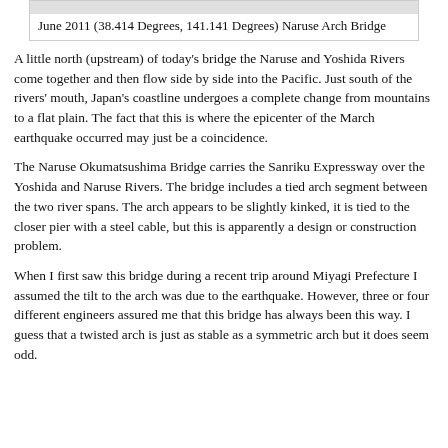June 2011 (38.414 Degrees, 141.141 Degrees) Naruse Arch Bridge
A little north (upstream) of today's bridge the Naruse and Yoshida Rivers come together and then flow side by side into the Pacific. Just south of the rivers' mouth, Japan's coastline undergoes a complete change from mountains to a flat plain. The fact that this is where the epicenter of the March earthquake occurred may just be a coincidence.
The Naruse Okumatsushima Bridge carries the Sanriku Expressway over the Yoshida and Naruse Rivers. The bridge includes a tied arch segment between the two river spans. The arch appears to be slightly kinked, it is tied to the closer pier with a steel cable, but this is apparently a design or construction problem.
When I first saw this bridge during a recent trip around Miyagi Prefecture I assumed the tilt to the arch was due to the earthquake. However, three or four different engineers assured me that this bridge has always been this way. I guess that a twisted arch is just as stable as a symmetric arch but it does seem odd.